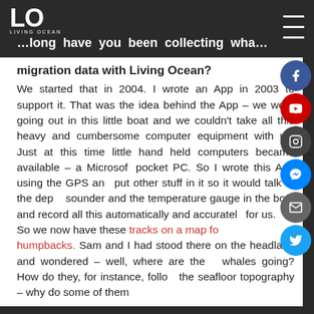Living Ocean logo and navigation
…long have you been collecting whale migration data with Living Ocean?
We started that in 2004. I wrote an App in 2003 to support it. That was the idea behind the App – we were going out in this little boat and we couldn't take all this heavy and cumbersome computer equipment with us. Just at this time little hand held computers became available – a Microsoft pocket PC. So I wrote this App using the GPS and put other stuff in it so it would talk to the depth sounder and the temperature gauge in the boat and record all this automatically and accurately for us.
So we now have these tracks on a map for humpbacks. Sam and I had stood there on the headland and wondered – well, where are the whales going? How do they, for instance, follow the seafloor topography – why do some of them